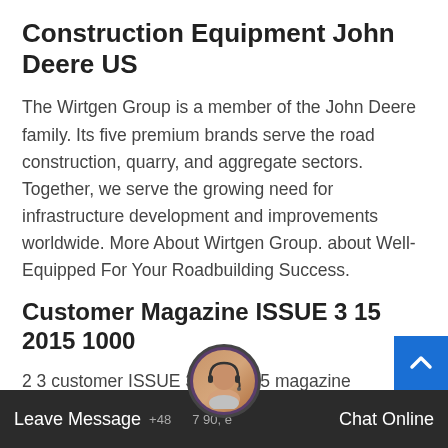Construction Equipment John Deere US
The Wirtgen Group is a member of the John Deere family. Its five premium brands serve the road construction, quarry, and aggregate sectors. Together, we serve the growing need for infrastructure development and improvements worldwide. More About Wirtgen Group. about Well-Equipped For Your Roadbuilding Success.
Customer Magazine ISSUE 3 15 2015 1000
2 3 customer ISSUE 3(15) 2015 magazine Remontowa Shipbuilding News is a quarterly customer magazine of Remontowa Shipbuilding, member of Remontowa Holding S.A. Publisher: Temat Ltd., Na Ostrowiu 1, 80 958 Gdańsk, Poland Editor-in-chief: Grzegorz
Leave Message  +48 ... 7 90, e ...  Chat Online